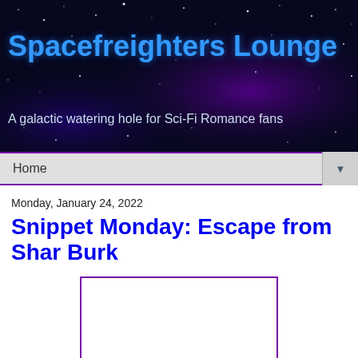[Figure (illustration): Website banner header with a dark starry night sky background featuring purple/blue nebula clouds, white stars scattered throughout. Large bold cyan/blue text reads 'Spacefreighters Lounge' and below it in white text 'A galactic watering hole for Sci-Fi Romance fans'.]
Home
Monday, January 24, 2022
Snippet Monday: Escape from Shar Burk
[Figure (other): Empty white rectangle with a purple/violet border, representing a placeholder image area.]